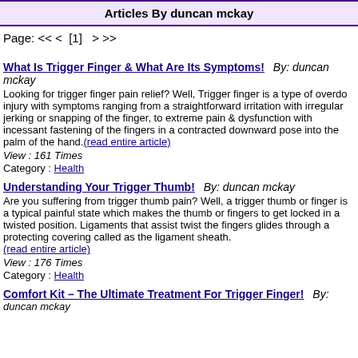Articles By duncan mckay
Page: << <  [1]   > >>
What Is Trigger Finger & What Are Its Symptoms!   By: duncan mckay
Looking for trigger finger pain relief? Well, Trigger finger is a type of overdo injury with symptoms ranging from a straightforward irritation with irregular jerking or snapping of the finger, to extreme pain & dysfunction with incessant fastening of the fingers in a contracted downward pose into the palm of the hand.(read entire article)
View : 161 Times
Category : Health
Understanding Your Trigger Thumb!   By: duncan mckay
Are you suffering from trigger thumb pain? Well, a trigger thumb or finger is a typical painful state which makes the thumb or fingers to get locked in a twisted position. Ligaments that assist twist the fingers glides through a protecting covering called as the ligament sheath.(read entire article)
View : 176 Times
Category : Health
Comfort Kit – The Ultimate Treatment For Trigger Finger!   By: duncan mckay